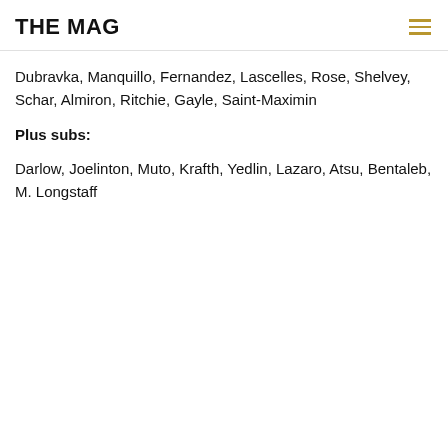THE MAG
Dubravka, Manquillo, Fernandez, Lascelles, Rose, Shelvey, Schar, Almiron, Ritchie, Gayle, Saint-Maximin
Plus subs:
Darlow, Joelinton, Muto, Krafth, Yedlin, Lazaro, Atsu, Bentaleb, M. Longstaff